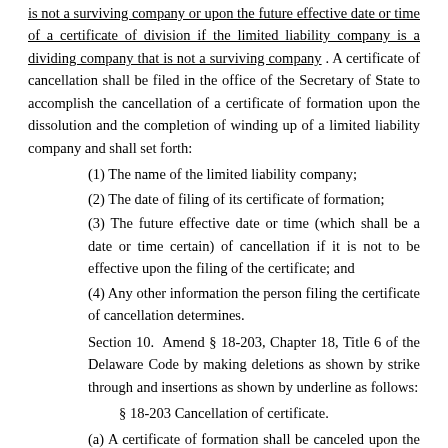is not a surviving company or upon the future effective date or time of a certificate of division if the limited liability company is a dividing company that is not a surviving company . A certificate of cancellation shall be filed in the office of the Secretary of State to accomplish the cancellation of a certificate of formation upon the dissolution and the completion of winding up of a limited liability company and shall set forth:
(1) The name of the limited liability company;
(2) The date of filing of its certificate of formation;
(3) The future effective date or time (which shall be a date or time certain) of cancellation if it is not to be effective upon the filing of the certificate; and
(4) Any other information the person filing the certificate of cancellation determines.
Section 10. Amend § 18-203, Chapter 18, Title 6 of the Delaware Code by making deletions as shown by strike through and insertions as shown by underline as follows:
§ 18-203 Cancellation of certificate.
(a) A certificate of formation shall be canceled upon the dissolution and the completion of winding up of a limited liability company, or as provided in §